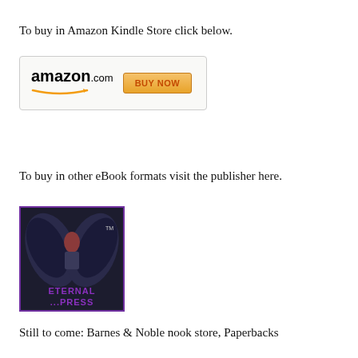To buy in Amazon Kindle Store click below.
[Figure (logo): Amazon.com BUY NOW button graphic]
To buy in other eBook formats visit the publisher here.
[Figure (logo): Eternal Press publisher logo — angel figure with wings, purple border, text 'Eternal...Press TM']
Still to come: Barnes & Noble nook store, Paperbacks